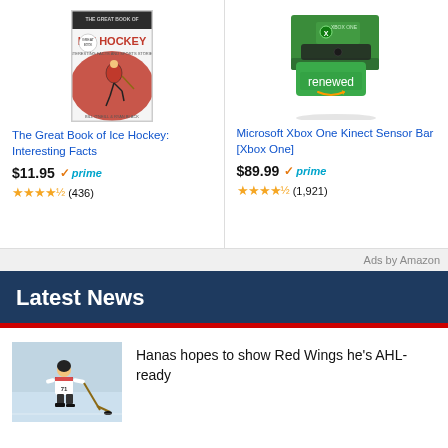[Figure (photo): Book cover: The Great Book of Ice Hockey - Interesting Facts and Sports Stories]
The Great Book of Ice Hockey: Interesting Facts
$11.95 ✓prime
★★★★½ (436)
[Figure (photo): Microsoft Xbox One Kinect Sensor Bar product photo with green box labeled renewed]
Microsoft Xbox One Kinect Sensor Bar [Xbox One]
$89.99 ✓prime
★★★★½ (1,921)
Ads by Amazon
Latest News
[Figure (photo): Hockey player on ice skating with puck]
Hanas hopes to show Red Wings he's AHL-ready